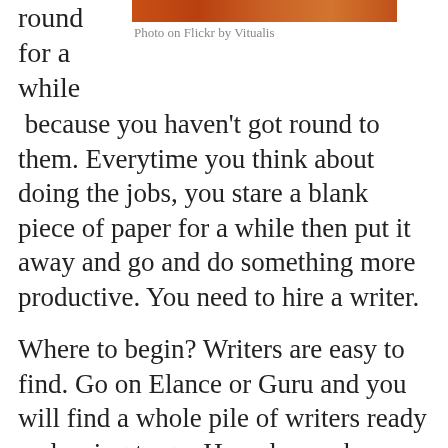round for a while
[Figure (photo): A photo with warm orange/brown tones, credited to Flickr by Vitualis]
Photo on Flickr by Vitualis
because you haven't got round to them. Everytime you think about doing the jobs, you stare a blank piece of paper for a while then put it away and go and do something more productive. You need to hire a writer.
Where to begin? Writers are easy to find. Go on Elance or Guru and you will find a whole pile of writers ready and raring to go. How do you know which one to hire?
Perhaps you explore some blogs and find some people blogging about writing. You like their writing style and think it would be a good fit for your company. How do you approach them about writing for you? Some will make it easy for you to approach